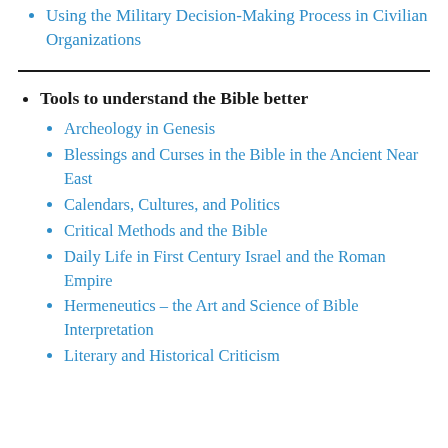Using the Military Decision-Making Process in Civilian Organizations
Tools to understand the Bible better
Archeology in Genesis
Blessings and Curses in the Bible in the Ancient Near East
Calendars, Cultures, and Politics
Critical Methods and the Bible
Daily Life in First Century Israel and the Roman Empire
Hermeneutics – the Art and Science of Bible Interpretation
Literary and Historical Criticism